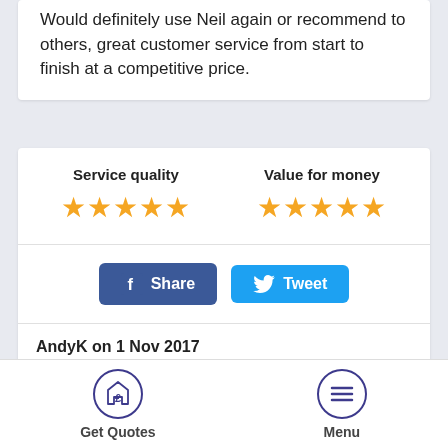Would definitely use Neil again or recommend to others, great customer service from start to finish at a competitive price.
Service quality ★★★★★  Value for money ★★★★★
[Figure (other): Facebook Share and Twitter Tweet buttons]
AndyK on 1 Nov 2017
Fentons provided an excellent service throughout. Efficient, courteous and helpful and at reasonable
[Figure (other): Bottom navigation bar with Get Quotes and Menu icons]